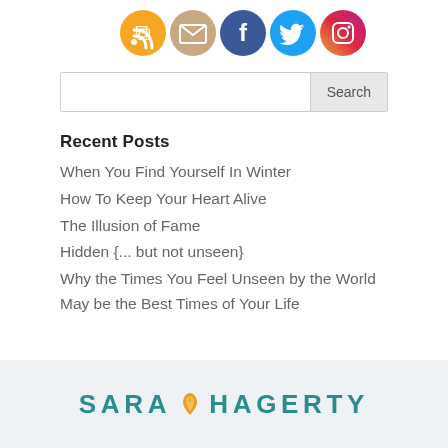[Figure (illustration): Row of social media icons: RSS (orange), email (tan), Facebook (blue), Twitter (light blue), Instagram (pink/red gradient)]
[Figure (other): Search bar with text input and Search button]
Recent Posts
When You Find Yourself In Winter
How To Keep Your Heart Alive
The Illusion of Fame
Hidden {... but not unseen}
Why the Times You Feel Unseen by the World May be the Best Times of Your Life
SARA HAGERTY